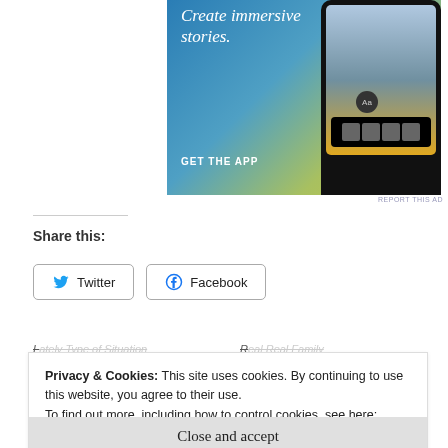[Figure (illustration): App advertisement banner with blue-to-yellow gradient background, text 'Create immersive stories.' and 'GET THE APP' on the left, phone mockup showing a photo editing app on the right. 'REPORT THIS AD' text in small print below.]
REPORT THIS AD
Share this:
Twitter
Facebook
Privacy & Cookies: This site uses cookies. By continuing to use this website, you agree to their use.
To find out more, including how to control cookies, see here:
Cookie Policy
Close and accept
Bloggers from an Expert
Husband"